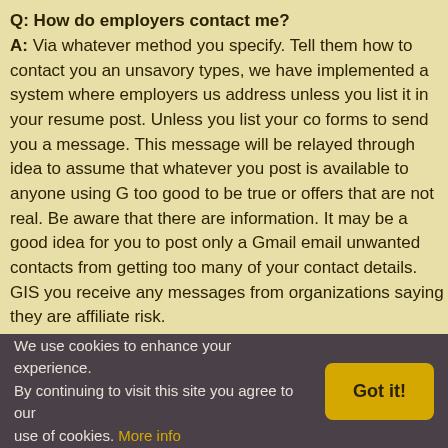Q: How do employers contact me?
A: Via whatever method you specify. Tell them how to contact you and unsavory types, we have implemented a system where employers use address unless you list it in your resume post. Unless you list your co forms to send you a message. This message will be relayed through idea to assume that whatever you post is available to anyone using G too good to be true or offers that are not real. Be aware that there are information. It may be a good idea for you to post only a Gmail email unwanted contacts from getting too many of your contact details. GIS you receive any messages from organizations saying they are affiliate risk.
Q: Will my resume be on GISjobs.com social media outlets?
A: Yes, all resumes are automatically listed on our Twitter and Faceb them to show on those pages.
Q: Can I post my data anonymously?
We use cookies to enhance your experience. By continuing to visit this site you agree to our use of cookies. More info